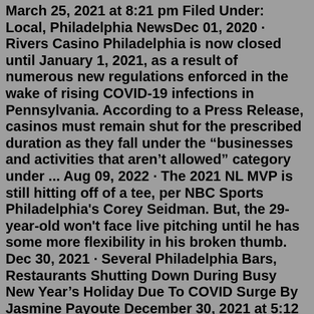March 25, 2021 at 8:21 pm Filed Under: Local, Philadelphia NewsDec 01, 2020 · Rivers Casino Philadelphia is now closed until January 1, 2021, as a result of numerous new regulations enforced in the wake of rising COVID-19 infections in Pennsylvania. According to a Press Release, casinos must remain shut for the prescribed duration as they fall under the "businesses and activities that aren't allowed" category under ... Aug 09, 2022 · The 2021 NL MVP is still hitting off of a tee, per NBC Sports Philadelphia's Corey Seidman. But, the 29-year-old won't face live pitching until he has some more flexibility in his broken thumb. Dec 30, 2021 · Several Philadelphia Bars, Restaurants Shutting Down During Busy New Year's Holiday Due To COVID Surge By Jasmine Payoute December 30, 2021 at 5:12 pm Filed Under: coronavirus , Local , New Year ... Aug 09, 2022 · The 2021 NL MVP is still hitting off of a tee, per NBC Sports Philadelphia's Corey Seidman. But, the 29-year-old won't face live pitching until he has some more flexibility in his broken thumb. Accommodating